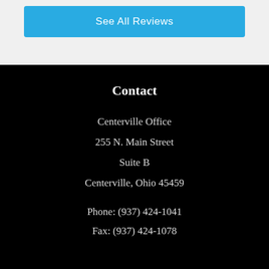See All Reviews
Contact
Centerville Office
255 N. Main Street
Suite B
Centerville, Ohio 45459
Phone: (937) 424-1041
Fax: (937) 424-1078